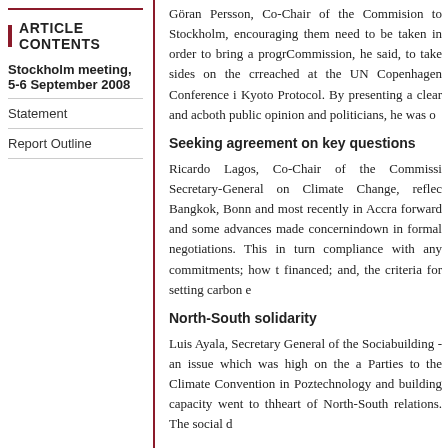ARTICLE CONTENTS
Stockholm meeting, 5-6 September 2008
Statement
Report Outline
Goran Persson, Co-Chair of the Commission to Stockholm, encouraging the need to be taken in order to bring a progress Commission, he said, to take sides on the critical reached at the UN Copenhagen Conference i Kyoto Protocol. By presenting a clear and according both public opinion and politicians, he was o
Seeking agreement on key questions
Ricardo Lagos, Co-Chair of the Commission Secretary-General on Climate Change, reflect Bangkok, Bonn and most recently in Accra forward and some advances made concerning down in formal negotiations. This in turn compliance with any commitments; how t financed; and, the criteria for setting carbon e
North-South solidarity
Luis Ayala, Secretary General of the Social building - an issue which was high on the a Parties to the Climate Convention in Poz technology and building capacity went to the heart of North-South relations. The social d